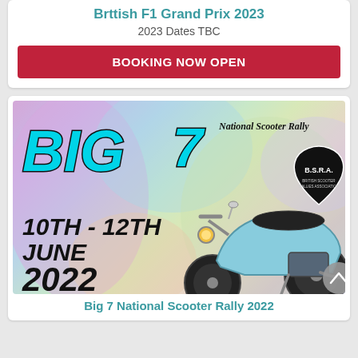British F1 Grand Prix 2023
2023 Dates TBC
BOOKING NOW OPEN
[Figure (illustration): Big 7 National Scooter Rally 2022 promotional poster with a Lambretta scooter, dates 10th–12th June 2022, B.S.R.A. logo on a colorful pastel background.]
Big 7 National Scooter Rally 2022